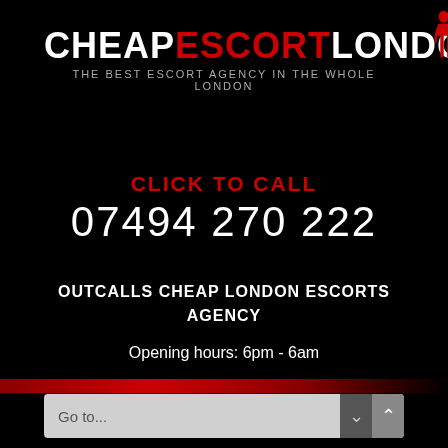[Figure (logo): CheapEscortLondon.co.uk logo with red silhouette figure, white and red text, tagline: THE BEST ESCORT AGENCY IN THE WHOLE LONDON]
CLICK TO CALL
07494 270 222
OUTCALLS CHEAP LONDON ESCORTS AGENCY
Opening hours: 6pm - 6am
Go to...